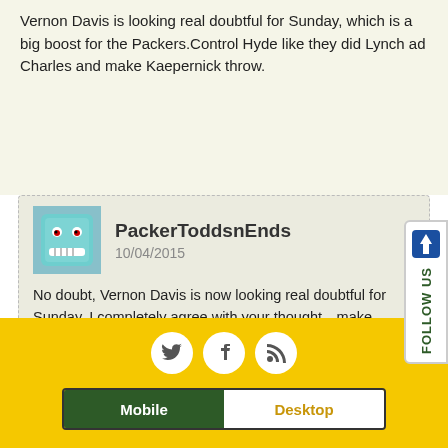Vernon Davis is looking real doubtful for Sunday, which is a big boost for the Packers.Control Hyde like they did Lynch ad Charles and make Kaepernick throw.
PackerToddsnEnds
10/04/2015

No doubt, Vernon Davis is now looking real doubtful for Sunday. I completely agree with your thought…make Kaepernick throw the football on Sunday….tee hee hee. Thanks for the comment. Go Pack Go!
[Figure (infographic): Social media icons: Twitter, Facebook, RSS feed, arranged horizontally in white circles on yellow background. Below: Mobile/Desktop toggle bar.]